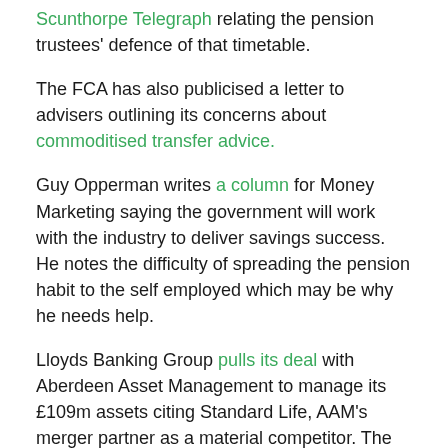Scunthorpe Telegraph relating the pension trustees' defence of that timetable.
The FCA has also publicised a letter to advisers outlining its concerns about commoditised transfer advice.
Guy Opperman writes a column for Money Marketing saying the government will work with the industry to deliver savings success. He notes the difficulty of spreading the pension habit to the self employed which may be why he needs help.
Lloyds Banking Group pulls its deal with Aberdeen Asset Management to manage its £109m assets citing Standard Life, AAM's merger partner as a material competitor. The market did not take the news well as share price fells 10 per cent. The Telegraph discusses outflows including from GARS and says the firm may be